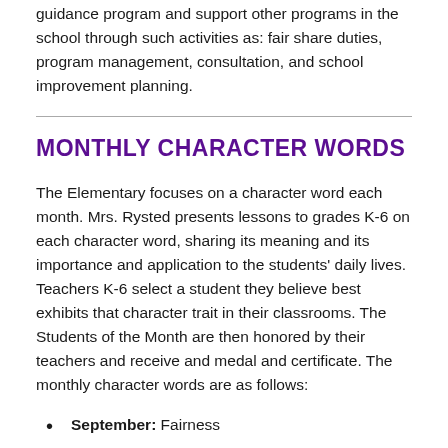guidance program and support other programs in the school through such activities as: fair share duties, program management, consultation, and school improvement planning.
MONTHLY CHARACTER WORDS
The Elementary focuses on a character word each month. Mrs. Rysted presents lessons to grades K-6 on each character word, sharing its meaning and its importance and application to the students' daily lives. Teachers K-6 select a student they believe best exhibits that character trait in their classrooms. The Students of the Month are then honored by their teachers and receive and medal and certificate. The monthly character words are as follows:
September: Fairness